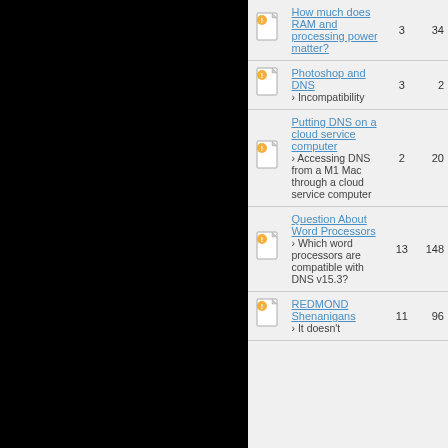| Icon | Topic | Replies | Views |
| --- | --- | --- | --- |
| [icon] | How much does RAM and processing power matter? | 3 | 34 |
| [icon] | Photoshop and DNS > Incompatibility | 3 | 2 |
| [icon] | Putting DNS on a cloud service computer > Accessing DNS from a M1 Mac through a cloud service computer | 2 | 20 |
| [icon] | Question About Word Processors > Which word processors are compatible with DNS v15.3? | 13 | 148 |
| [icon] | REDMOND Shenanigans > It doesn't | 11 | 96 |